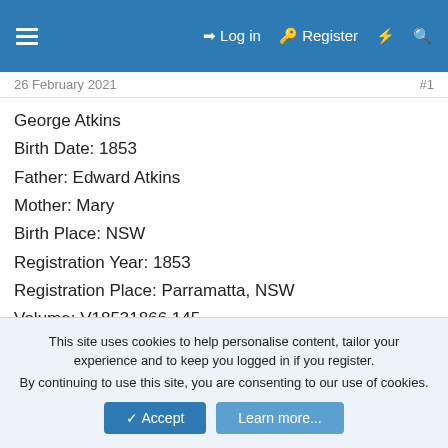≡  Log in  Register  ⚡  🔍
26 February 2021   #1
George Atkins
Birth Date: 1853
Father: Edward Atkins
Mother: Mary
Birth Place: NSW
Registration Year: 1853
Registration Place: Parramatta, NSW
Volume: V18531866 145
Looking for the marriage of Edward & Mary ? and their arrival ?? and their deaths.
Thanks,
This site uses cookies to help personalise content, tailor your experience and to keep you logged in if you register.
By continuing to use this site, you are consenting to our use of cookies.